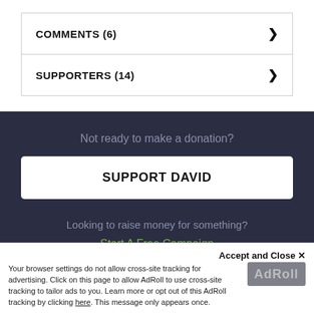COMMENTS (6)
SUPPORTERS (14)
Not ready to make a donation?
SUPPORT DAVID
Looking to raise money for something?
Start A Free Campaign
Accept and Close ✕
Your browser settings do not allow cross-site tracking for advertising. Click on this page to allow AdRoll to use cross-site tracking to tailor ads to you. Learn more or opt out of this AdRoll tracking by clicking here. This message only appears once.